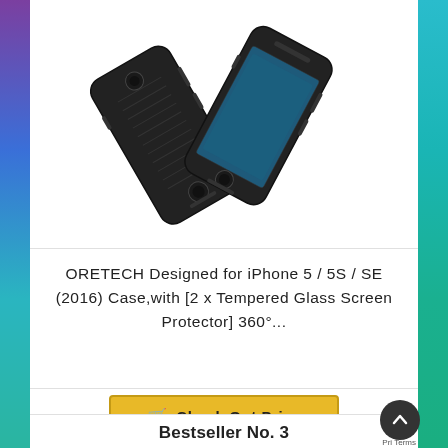[Figure (photo): Two black iPhone 5/5S/SE phone cases shown in an X-crossed arrangement, displaying both the front and back of the protective cases on a white background.]
ORETECH Designed for iPhone 5 / 5S / SE (2016) Case,with [2 x Tempered Glass Screen Protector] 360°...
Check Out Price
Bestseller No. 3